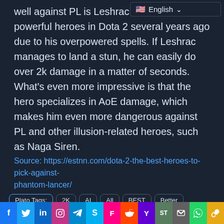well against PL is Leshrac. This used to powerful heroes in Dota 2 several years ago due to his overpowered spells. If Leshrac manages to land a stun, he can easily do over 2k damage in a matter of seconds. What's even more impressive is that the hero specializes in AoE damage, which makes him even more dangerous against PL and other illusion-related heroes, such as Naga Siren.
Source: https://estnn.com/dota-2-the-best-heroes-to-pick-against-phantom-lancer/
Plato Tags: 2K  AI  All  BEST  Better  Bunch  Challenging  Cleaning  Content  Couple  Damage  Deal  Dealing  Deals  Devastating  DOTA  Dota 2  Early  Easily  Effective  Es
f  in  [instagram]  [telegram]  S  F  [reddit]  Y  ST  [mail]  [whatsapp]  [link]